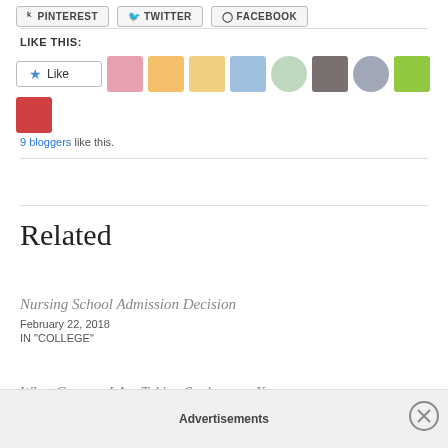[Figure (screenshot): Social sharing buttons: Pinterest, Twitter, Facebook]
LIKE THIS:
[Figure (screenshot): WordPress Like button with 9 blogger avatars]
9 bloggers like this.
Related
Nursing School Admission Decision
February 22, 2018
IN 'COLLEGE'
What Courses I Am Taking Sophomore Year
Advertisements